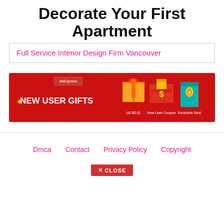Decorate Your First Apartment
Full Service Interior Design Firm Vancouver
[Figure (infographic): AliExpress advertisement banner with red background showing 'NEW USER GIFTS' with icons for US $0.01 product, New User Coupon, and Exclusive Deal]
Dmca   Contact   Privacy Policy   Copyright
✕ CLOSE